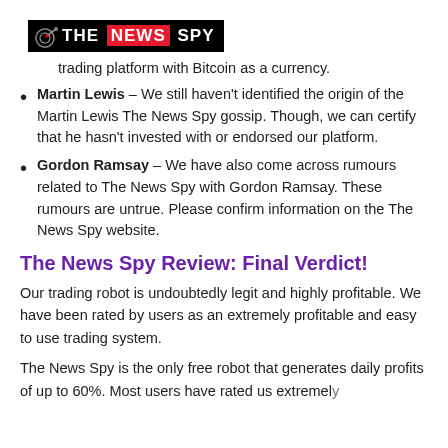[Figure (logo): The News Spy logo: black background with a satellite dish icon, text 'THE NEWS SPY' with 'NEWS' highlighted in red]
trading platform with Bitcoin as a currency.
Martin Lewis – We still haven't identified the origin of the Martin Lewis The News Spy gossip. Though, we can certify that he hasn't invested with or endorsed our platform.
Gordon Ramsay – We have also come across rumours related to The News Spy with Gordon Ramsay. These rumours are untrue. Please confirm information on the The News Spy website.
The News Spy Review: Final Verdict!
Our trading robot is undoubtedly legit and highly profitable. We have been rated by users as an extremely profitable and easy to use trading system.
The News Spy is the only free robot that generates daily profits of up to 60%. Most users have rated us extremely